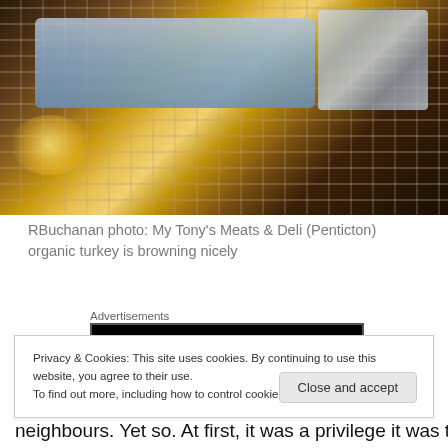[Figure (photo): Photo of a turkey in a blue roasting pan inside an oven, with oven racks visible and a foil-wrapped item to the right, warm light glowing from the oven interior]
RBuchanan photo: My Tony's Meats & Deli (Penticton) organic turkey is browning nicely
Advertisements
[Figure (screenshot): Longreads advertisement banner with black background showing Longreads logo and text: Read anything great lately?]
REPORT THIS AD
In another post, I'll talk more of our walks. How we both
Privacy & Cookies: This site uses cookies. By continuing to use this website, you agree to their use.
To find out more, including how to control cookies, see here: Cookie Policy
Close and accept
neighbours. Yet so. At first, it was a privilege it was to get